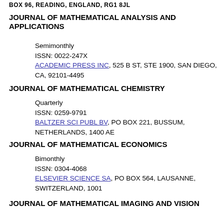BOX 96, READING, ENGLAND, RG1 8JL
JOURNAL OF MATHEMATICAL ANALYSIS AND APPLICATIONS
Semimonthly
ISSN: 0022-247X
ACADEMIC PRESS INC, 525 B ST, STE 1900, SAN DIEGO, CA, 92101-4495
JOURNAL OF MATHEMATICAL CHEMISTRY
Quarterly
ISSN: 0259-9791
BALTZER SCI PUBL BV, PO BOX 221, BUSSUM, NETHERLANDS, 1400 AE
JOURNAL OF MATHEMATICAL ECONOMICS
Bimonthly
ISSN: 0304-4068
ELSEVIER SCIENCE SA, PO BOX 564, LAUSANNE, SWITZERLAND, 1001
JOURNAL OF MATHEMATICAL IMAGING AND VISION